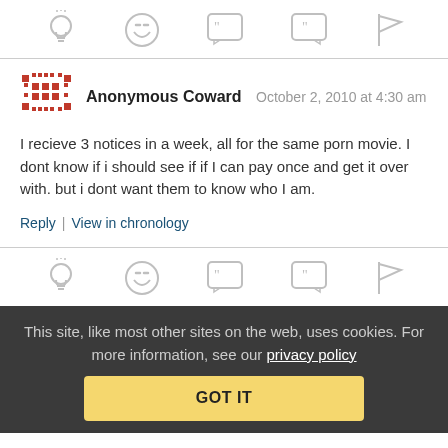[Figure (other): Row of 5 action icons: lightbulb, laughing emoji, quote-start speech bubble, quote-end speech bubble, flag]
Anonymous Coward   October 2, 2010 at 4:30 am
I recieve 3 notices in a week, all for the same porn movie. I dont know if i should see if if I can pay once and get it over with. but i dont want them to know who I am.
Reply | View in chronology
[Figure (other): Row of 5 action icons: lightbulb, laughing emoji, quote-start speech bubble, quote-end speech bubble, flag]
This site, like most other sites on the web, uses cookies. For more information, see our privacy policy
GOT IT